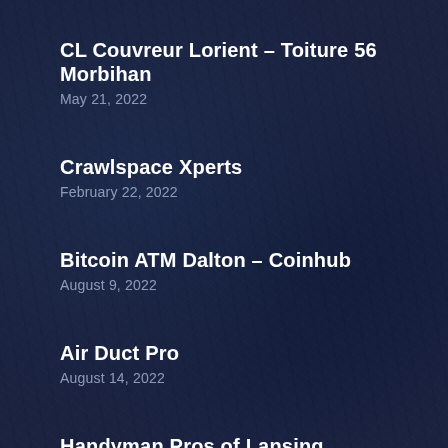CL Couvreur Lorient – Toiture 56 Morbihan
May 21, 2022
Crawlspace Xperts
February 22, 2022
Bitcoin ATM Dalton – Coinhub
August 9, 2022
Air Duct Pro
August 14, 2022
Handyman Pros of Lansing
June 13, 2022